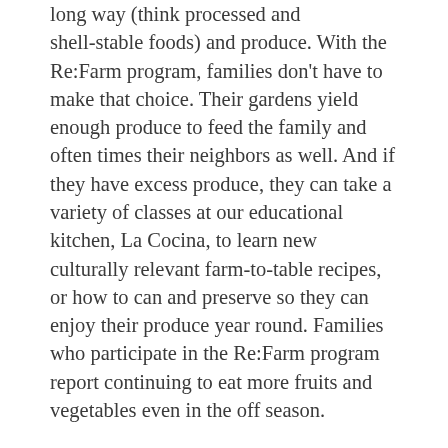long way (think processed and shell-stable foods) and produce. With the Re:Farm program, families don't have to make that choice. Their gardens yield enough produce to feed the family and often times their neighbors as well. And if they have excess produce, they can take a variety of classes at our educational kitchen, La Cocina, to learn new culturally relevant farm-to-table recipes, or how to can and preserve so they can enjoy their produce year round. Families who participate in the Re:Farm program report continuing to eat more fruits and vegetables even in the off season.
What began with teaching seven families